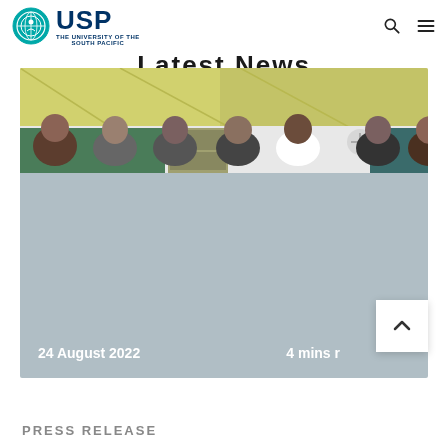USP — THE UNIVERSITY OF THE SOUTH PACIFIC
Latest News
[Figure (photo): Group photo of male students/staff in a classroom, partially visible behind desks/benches, with a yellow-tinted ceiling. Date: 24 August 2022. Read time: 4 mins read.]
24 August 2022
4 mins read
PRESS RELEASE